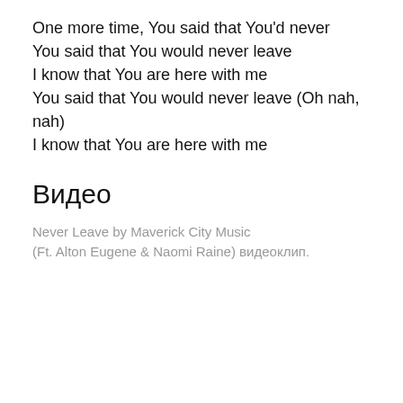One more time, You said that You'd never
You said that You would never leave
I know that You are here with me
You said that You would never leave (Oh nah, nah)
I know that You are here with me
Видео
Never Leave by Maverick City Music (Ft. Alton Eugene & Naomi Raine) видеоклип.